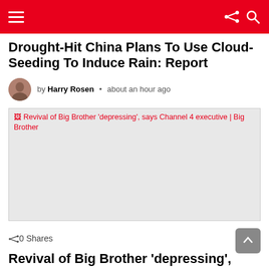Navigation header with hamburger menu, share icon, and search icon
Drought-Hit China Plans To Use Cloud-Seeding To Induce Rain: Report
by Harry Rosen • about an hour ago
[Figure (photo): Broken image placeholder with alt text: Revival of Big Brother 'depressing', says Channel 4 executive | Big Brother]
0 Shares
Revival of Big Brother 'depressing', says